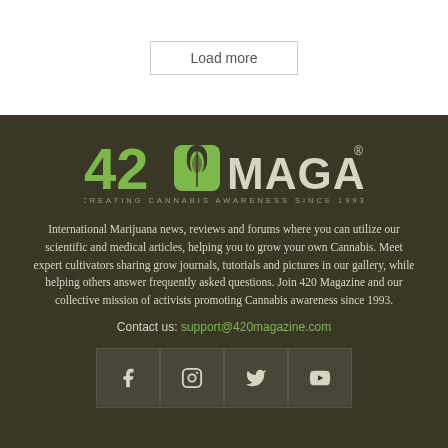Load more
[Figure (logo): 420 Magazine logo with cannabis leaf icon and tagline CREATING CANNABIS AWARENESS SINCE 1993]
International Marijuana news, reviews and forums where you can utilize our scientific and medical articles, helping you to grow your own Cannabis. Meet expert cultivators sharing grow journals, tutorials and pictures in our gallery, while helping others answer frequently asked questions. Join 420 Magazine and our collective mission of activists promoting Cannabis awareness since 1993.
Contact us: support@420magazine.com
[Figure (infographic): Social media icons: Facebook, Instagram, Twitter, YouTube]